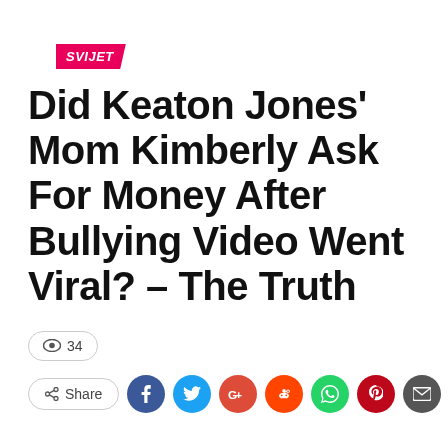SVIJET
Did Keaton Jones' Mom Kimberly Ask For Money After Bullying Video Went Viral? – The Truth
👁 34
< Share [Facebook] [Twitter] [Google+] [Reddit] [WhatsApp] [Pinterest] [Email]